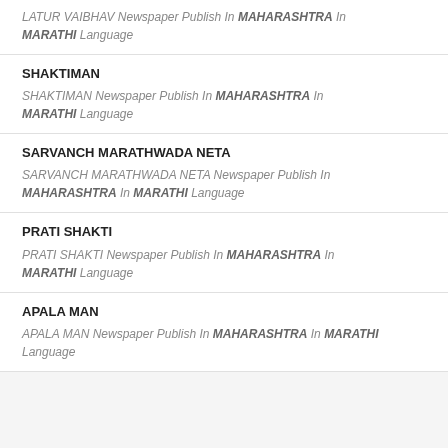LATUR VAIBHAV Newspaper Publish In MAHARASHTRA In MARATHI Language
SHAKTIMAN
SHAKTIMAN Newspaper Publish In MAHARASHTRA In MARATHI Language
SARVANCH MARATHWADA NETA
SARVANCH MARATHWADA NETA Newspaper Publish In MAHARASHTRA In MARATHI Language
PRATI SHAKTI
PRATI SHAKTI Newspaper Publish In MAHARASHTRA In MARATHI Language
APALA MAN
APALA MAN Newspaper Publish In MAHARASHTRA In MARATHI Language